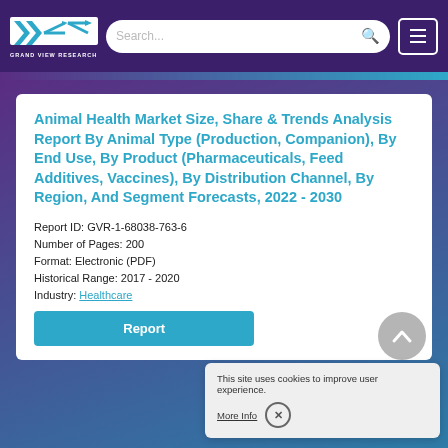Grand View Research — navigation bar with logo, search, and menu
Animal Health Market Size, Share & Trends Analysis Report By Animal Type (Production, Companion), By End Use, By Product (Pharmaceuticals, Feed Additives, Vaccines), By Distribution Channel, By Region, And Segment Forecasts, 2022 - 2030
Report ID: GVR-1-68038-763-6
Number of Pages: 200
Format: Electronic (PDF)
Historical Range: 2017 - 2020
Industry: Healthcare
Report
This site uses cookies to improve user experience.
More Info